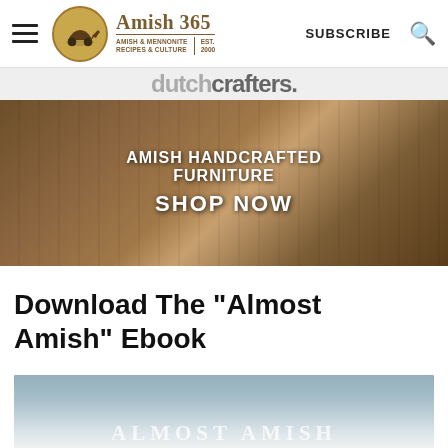Amish 365 — AMISH & MENNONITE RECIPES & CULTURE | EST. 2000 — SUBSCRIBE
[Figure (screenshot): DutchCrafters advertisement banner showing wooden furniture with text: AMISH HANDCRAFTED FURNITURE SHOP NOW]
Download The "Almost Amish" Ebook
[Figure (photo): Book cover image with text ALMOST AMISH in large letters over a light blue/grey background]